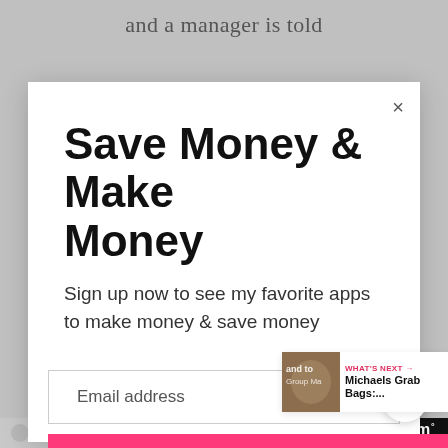and a manager is told
Save Money & Make Money
Sign up now to see my favorite apps to make money & save money
Email address
Get It Now
WHAT'S NEXT → Michaels Grab Bags:...